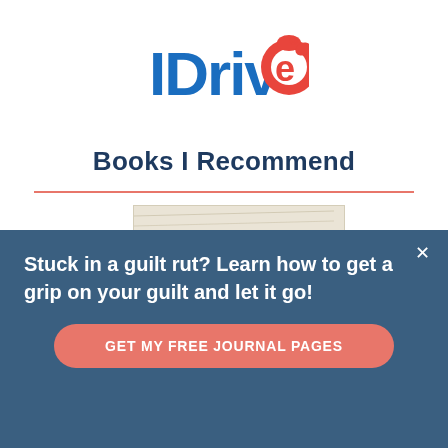[Figure (logo): IDrive logo with blue text 'IDrive' and red circular lock icon with registered trademark symbol]
Books I Recommend
[Figure (photo): Partial book cover image, beige/cream colored, partially visible at the top]
Stuck in a guilt rut? Learn how to get a grip on your guilt and let it go!
GET MY FREE JOURNAL PAGES